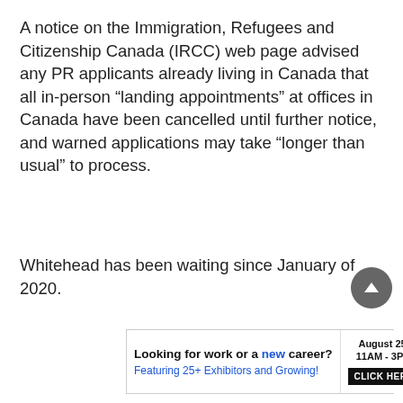A notice on the Immigration, Refugees and Citizenship Canada (IRCC) web page advised any PR applicants already living in Canada that all in-person “landing appointments” at offices in Canada have been cancelled until further notice, and warned applications may take “longer than usual” to process.
Whitehead has been waiting since January of 2020.
[Figure (other): Advertisement banner: 'Looking for work or a new career? August 25, 11AM - 3PM. Featuring 25+ Exhibitors and Growing! CLICK HERE']